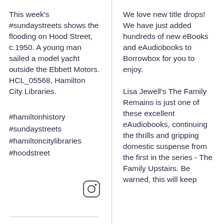This week's #sundaystreets shows the flooding on Hood Street, c.1950. A young man sailed a model yacht outside the Ebbett Motors. HCL_05568, Hamilton City Libraries.
#hamiltonhistory #sundaystreets #hamiltoncitylibraries #hoodstreet
We love new title drops! We have just added hundreds of new eBooks and eAudiobooks to Borrowbox for you to enjoy.
Lisa Jewell's The Family Remains is just one of these excellent eAudiobooks, continuing the thrills and gripping domestic suspense from the first in the series - The Family Upstairs. Be warned, this will keep